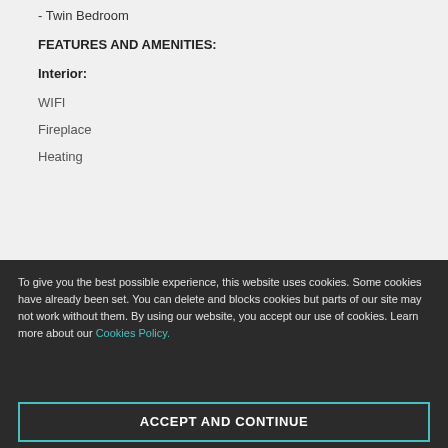- Twin Bedroom
FEATURES AND AMENITIES:
Interior:
WIFI
Fireplace
Heating
To give you the best possible experience, this website uses cookies. Some cookies have already been set. You can delete and blocks cookies but parts of our site may not work without them. By using our website, you accept our use of cookies. Learn more about our Cookies Policy.
ACCEPT AND CONTINUE